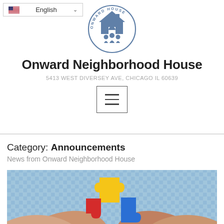[Figure (logo): Onward House circular logo in blue showing a house with people/family silhouettes inside, with text 'ONWARD HOUSE' around the circle]
Onward Neighborhood House
5413 WEST DIVERSEY AVE, CHICAGO IL 60639
[Figure (other): Hamburger menu button (three horizontal lines) inside a rectangle border]
Category: Announcements
News from Onward Neighborhood House
[Figure (photo): Close-up photo of two hands holding colorful puzzle pieces (red, yellow, blue) against a blue gingham/checkered fabric background]